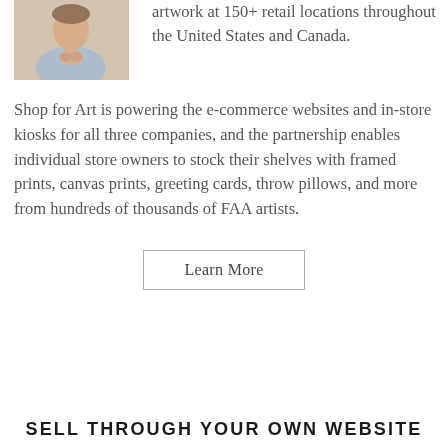[Figure (photo): Person with hands clasped, wearing light blue/lavender shirt, background suggests a shop or art gallery setting]
artwork at 150+ retail locations throughout the United States and Canada.
Shop for Art is powering the e-commerce websites and in-store kiosks for all three companies, and the partnership enables individual store owners to stock their shelves with framed prints, canvas prints, greeting cards, throw pillows, and more from hundreds of thousands of FAA artists.
Learn More
SELL THROUGH YOUR OWN WEBSITE